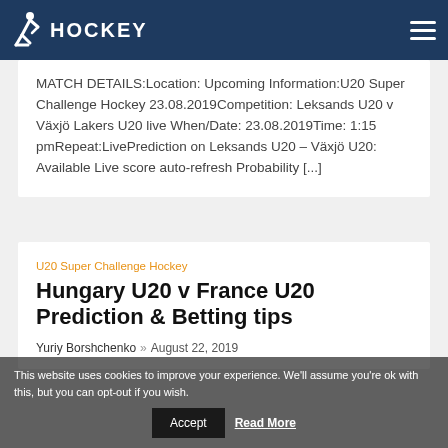HOCKEY
MATCH DETAILS:Location: Upcoming Information:U20 Super Challenge Hockey 23.08.2019Competition: Leksands U20 v Växjö Lakers U20 live When/Date: 23.08.2019Time: 1:15 pmRepeat:LivePrediction on Leksands U20 – Växjö U20: Available Live score auto-refresh Probability [...]
U20 Super Challenge Hockey
Hungary U20 v France U20 Prediction & Betting tips
Yuriy Borshchenko » August 22, 2019
This website uses cookies to improve your experience. We'll assume you're ok with this, but you can opt-out if you wish.
Accept   Read More